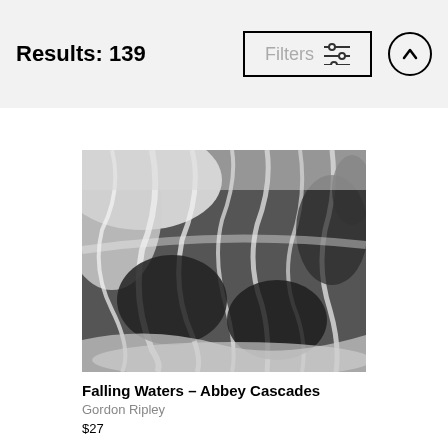Results: 139
[Figure (photo): Black and white photograph of a waterfall cascading over rocks — Falling Waters Abbey Cascades]
Falling Waters - Abbey Cascades
Gordon Ripley
$27